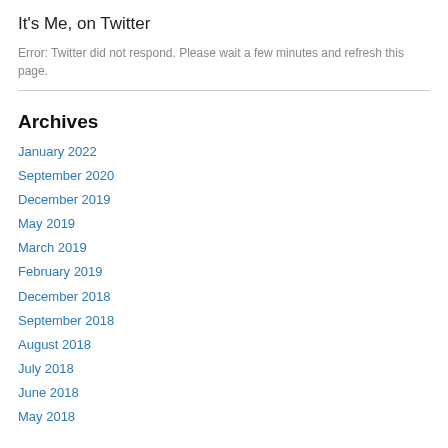It's Me, on Twitter
Error: Twitter did not respond. Please wait a few minutes and refresh this page.
Archives
January 2022
September 2020
December 2019
May 2019
March 2019
February 2019
December 2018
September 2018
August 2018
July 2018
June 2018
May 2018